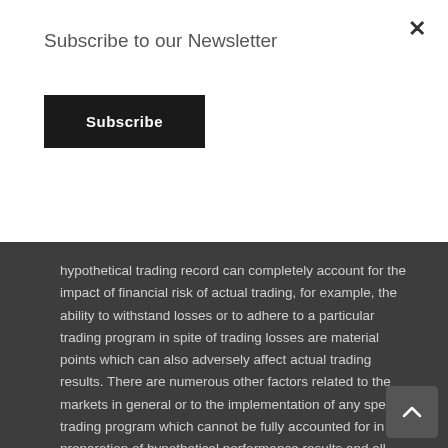Subscribe to our Newsletter
Subscribe
hypothetical trading record can completely account for the impact of financial risk of actual trading, for example, the ability to withstand losses or to adhere to a particular trading program in spite of trading losses are material points which can also adversely affect actual trading results. There are numerous other factors related to the markets in general or to the implementation of any specific trading program which cannot be fully accounted for in the preparation of hypothetical performance results and all which can adversely affect trading results.